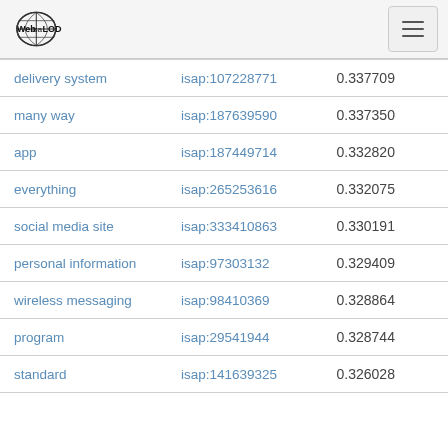Web isa LOD
| term | isap id | score |
| --- | --- | --- |
| delivery system | isap:107228771 | 0.337709 |
| many way | isap:187639590 | 0.337350 |
| app | isap:187449714 | 0.332820 |
| everything | isap:265253616 | 0.332075 |
| social media site | isap:333410863 | 0.330191 |
| personal information | isap:97303132 | 0.329409 |
| wireless messaging | isap:98410369 | 0.328864 |
| program | isap:29541944 | 0.328744 |
| standard | isap:141639325 | 0.326028 |